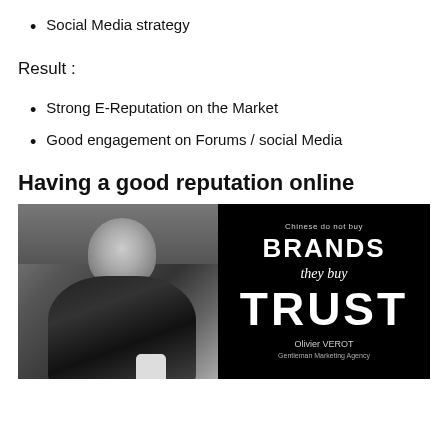Social Media strategy
Result :
Strong E-Reputation on the Market
Good engagement on Forums / social Media
Having a good reputation online
[Figure (photo): Black and white promotional image split into two halves: left side shows a man in a suit, right side shows black background with text 'Chinese do not buy BRANDS they buy TRUST' attributed to Olivier VEROT, Gentleman Marketing Agency]